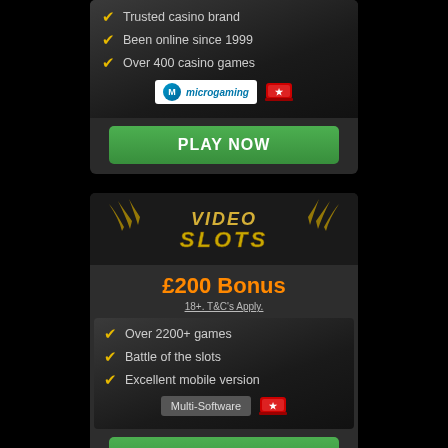Trusted casino brand
Been online since 1999
Over 400 casino games
[Figure (logo): Microgaming logo and red flag icon]
PLAY NOW
[Figure (logo): Video Slots logo banner]
£200 Bonus
18+. T&C's Apply.
Over 2200+ games
Battle of the slots
Excellent mobile version
[Figure (logo): Multi-Software badge and red flag icon]
PLAY NOW